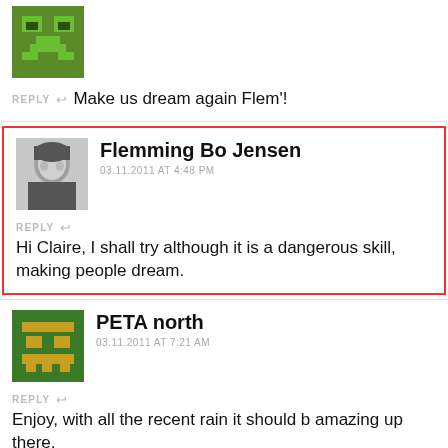[Figure (illustration): Green pixel art avatar (Minecraft-style creeper face)]
REPLY ↩ Make us dream again Flem'!
[Figure (photo): Black and white photo of Flemming Bo Jensen]
Flemming Bo Jensen
03.11.2011 AT 4:48 PM
REPLY ↩ Hi Claire, I shall try although it is a dangerous skill, making people dream.
[Figure (illustration): Green pixel art avatar for PETA north]
PETA north
03.11.2011 AT 7:21 AM
REPLY ↩ Enjoy, with all the recent rain it should b amazing up there.
[Figure (photo): Black and white photo of Flemming Bo Jensen]
Flemming Bo Jensen
03.11.2011 AT 4:34 PM